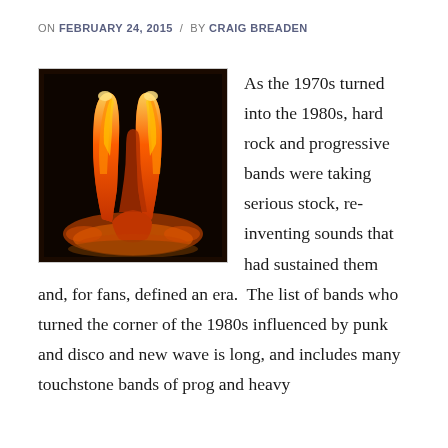ON FEBRUARY 24, 2015 / BY CRAIG BREADEN
[Figure (photo): A hand making the 'devil horns' rock gesture, rendered in fire/flames against a dark background]
As the 1970s turned into the 1980s, hard rock and progressive bands were taking serious stock, re-inventing sounds that had sustained them and, for fans, defined an era.  The list of bands who turned the corner of the 1980s influenced by punk and disco and new wave is long, and includes many touchstone bands of prog and heavy